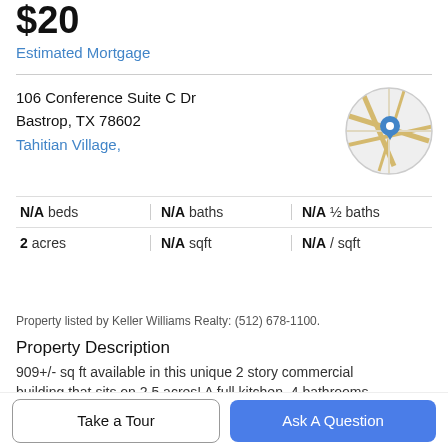$20
Estimated Mortgage
106 Conference Suite C Dr
Bastrop, TX 78602
Tahitian Village,
[Figure (map): Circular map thumbnail showing street map with a blue location pin marker in center]
| N/A beds | N/A baths | N/A ½ baths |
| 2 acres | N/A sqft | N/A / sqft |
Property listed by Keller Williams Realty: (512) 678-1100.
Property Description
909+/- sq ft available in this unique 2 story commercial building that sits on 2.5 acres! A full kitchen, 4 bathrooms
Take a Tour
Ask A Question